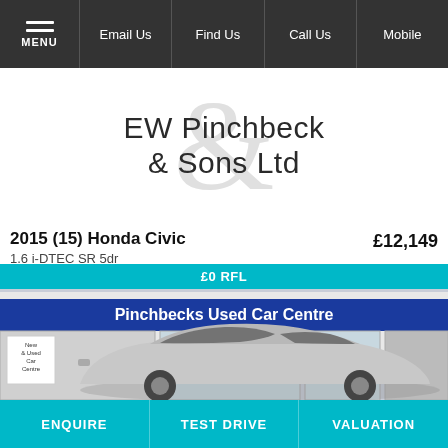MENU | Email Us | Find Us | Call Us | Mobile
[Figure (logo): EW Pinchbeck & Sons Ltd logo with large grey ampersand watermark behind text]
2015 (15) Honda Civic
1.6 i-DTEC SR 5dr
£12,149
[Figure (photo): Photo of Pinchbecks Used Car Centre dealership with a silver Honda Civic in front. Teal banner at top reads '£0 RFL']
ENQUIRE | TEST DRIVE | VALUATION